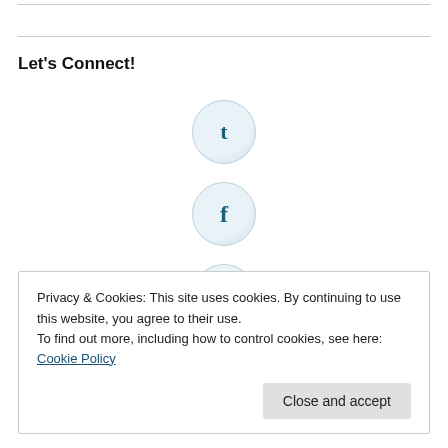Let's Connect!
[Figure (illustration): Three circular social media icons stacked vertically: Twitter (t), Facebook (f), and LinkedIn (in), each with a light blue gradient circle background.]
Privacy & Cookies: This site uses cookies. By continuing to use this website, you agree to their use.
To find out more, including how to control cookies, see here: Cookie Policy
Close and accept